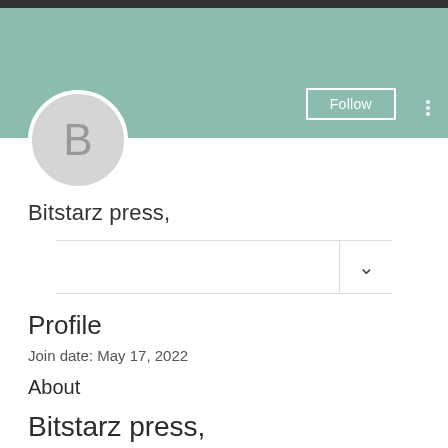[Figure (screenshot): Social media profile page header with teal/green banner, circular avatar with letter B, Follow button, and three-dot menu]
Bitstarz press,
Profile
Join date: May 17, 2022
About
Bitstarz press,